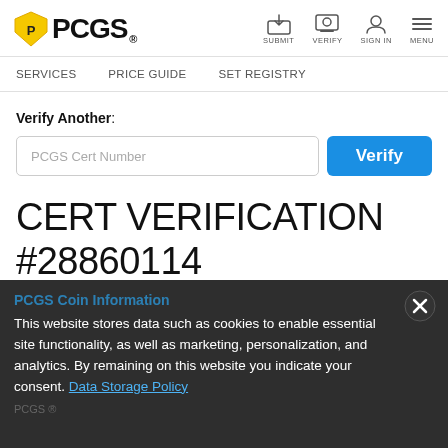[Figure (logo): PCGS logo with yellow shield icon and bold PCGS text]
[Figure (infographic): Navigation icons: Submit (inbox/download icon), Verify (screen icon), Sign In (person icon), Menu (hamburger lines)]
SERVICES   PRICE GUIDE   SET REGISTRY
Verify Another:
PCGS Cert Number (input field)
Verify (button)
CERT VERIFICATION #28860114
PCGS Coin Information
This website stores data such as cookies to enable essential site functionality, as well as marketing, personalization, and analytics. By remaining on this website you indicate your consent. Data Storage Policy